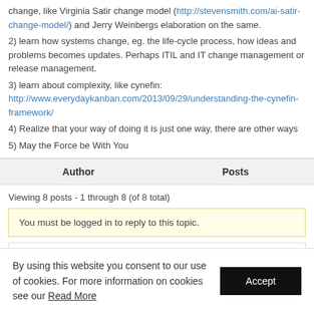change, like Virginia Satir change model (http://stevensmith.com/ai-satir-change-model/) and Jerry Weinbergs elaboration on the same.
2) learn how systems change, eg. the life-cycle process, how ideas and problems becomes updates. Perhaps ITIL and IT change management or release management.
3) learn about complexity, like cynefin: http://www.everydaykanban.com/2013/09/29/understanding-the-cynefin-framework/
4) Realize that your way of doing it is just one way, there are other ways
5) May the Force be With You
| Author | Posts |
| --- | --- |
Viewing 8 posts - 1 through 8 (of 8 total)
You must be logged in to reply to this topic.
Username:
By using this website you consent to our use of cookies. For more information on cookies see our Read More